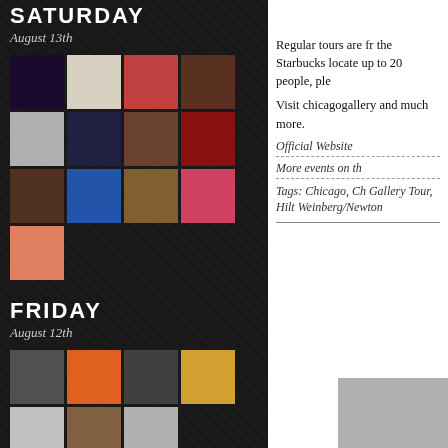SATURDAY
August 13th
[Figure (photo): Grid of 13 thumbnail images for Saturday August 13th events]
FRIDAY
August 12th
[Figure (photo): Grid of 7 thumbnail images for Friday August 12th events]
Regular tours are fr the Starbucks locate up to 20 people, ple
Visit chicagogallery and much more.
Official Website
More events on th
Tags: Chicago, Ch Gallery Tour, Hilt Weinberg/Newton